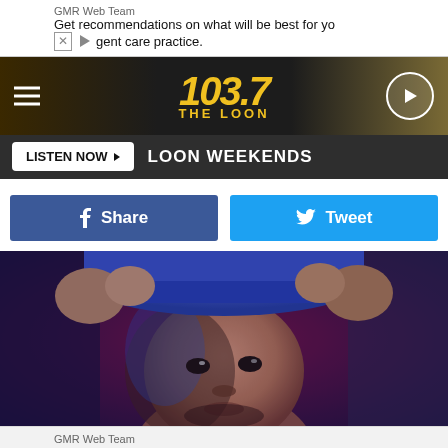[Figure (screenshot): Top advertisement banner: GMR Web Team. Get recommendations on what will be best for yo[ur] gent care practice.]
[Figure (logo): 103.7 The Loon radio station header with hamburger menu, yellow italic logo text '103.7 THE LOON', and play button circle on dark background]
LISTEN NOW  LOON WEEKENDS
Share
Tweet
[Figure (photo): Close-up photograph of a young man adjusting a blue baseball cap, lit with blue/purple studio lighting against a dark maroon background]
[Figure (screenshot): Bottom advertisement banner: GMR Web Team. Get recommendations on what will be best for y[our] gent care practice.]